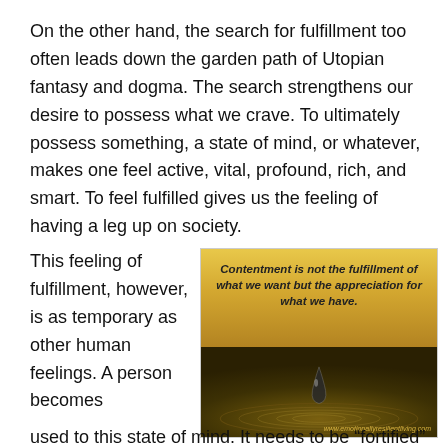On the other hand, the search for fulfillment too often leads down the garden path of Utopian fantasy and dogma. The search strengthens our desire to possess what we crave. To ultimately possess something, a state of mind, or whatever, makes one feel active, vital, profound, rich, and smart. To feel fulfilled gives us the feeling of having a leg up on society.
This feeling of fulfillment, however, is as temporary as other human feelings. A person becomes
[Figure (illustration): Motivational image with golden/amber background showing a water drop falling into rippling water. Quote overlay reads: 'Contentment is not the fulfillment of what we want but the appreciation for what we have.' Website watermark: www.emotionallyresilientliving.com]
used to this state of mind. It needs to be “fortified” and